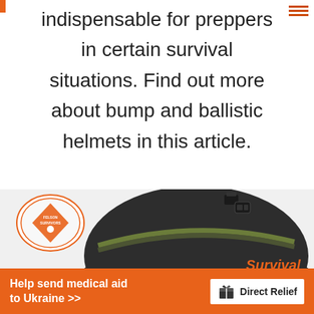indispensable for preppers in certain survival situations. Find out more about bump and ballistic helmets in this article.
[Figure (photo): A dark military-style ballistic/survival helmet with olive green strap and clip attachment at the top. Text overlay reads 'Survival Helmets' in orange. A circular logo for 'Felson Survivors' is visible in the upper left of the image.]
Help send medical aid to Ukraine >>